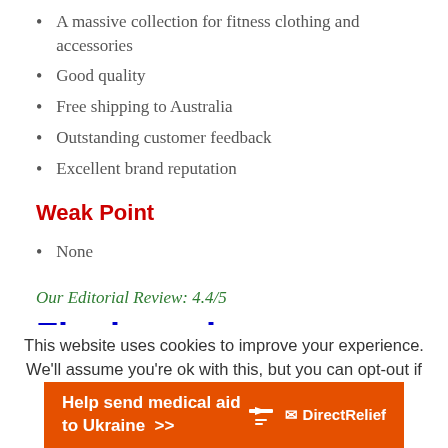A massive collection for fitness clothing and accessories
Good quality
Free shipping to Australia
Outstanding customer feedback
Excellent brand reputation
Weak Point
None
Our Editorial Review: 4.4/5
Final word
This website uses cookies to improve your experience. We'll assume you're ok with this, but you can opt-out if
[Figure (infographic): DirectRelief donation banner: orange background with text 'Help send medical aid to Ukraine >>' and DirectRelief logo]